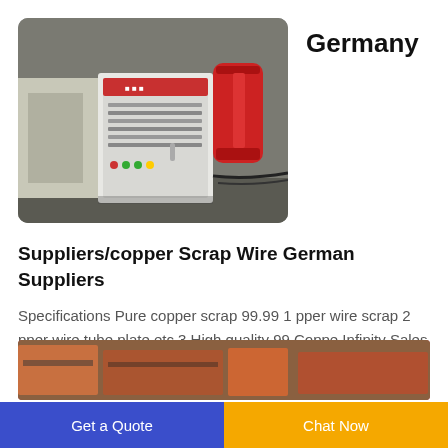[Figure (photo): Industrial wire scrap processing machine with white control panel and red cylindrical components in a factory setting]
Germany
Suppliers/copper Scrap Wire German Suppliers
Specifications Pure copper scrap 99.99 1 pper wire scrap 2 pper wire tube plate etc 3.High quality 99 Coppe Infinity Sales Landsberger Str. 234 MÃ¼nchen Germany TrustPoints 0
[Figure (photo): Partial view of another industrial machine or equipment, red colored, cropped at bottom of page]
Get a Quote
Chat Now